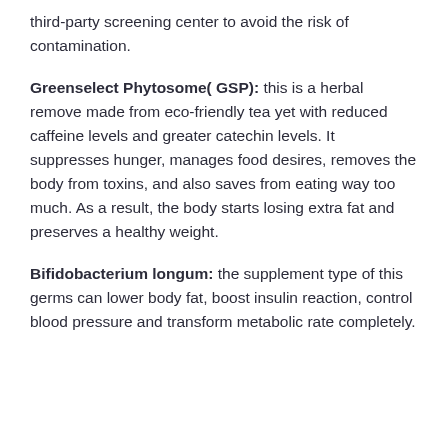third-party screening center to avoid the risk of contamination.
Greenselect Phytosome( GSP): this is a herbal remove made from eco-friendly tea yet with reduced caffeine levels and greater catechin levels. It suppresses hunger, manages food desires, removes the body from toxins, and also saves from eating way too much. As a result, the body starts losing extra fat and preserves a healthy weight.
Bifidobacterium longum: the supplement type of this germs can lower body fat, boost insulin reaction, control blood pressure and transform metabolic rate completely.